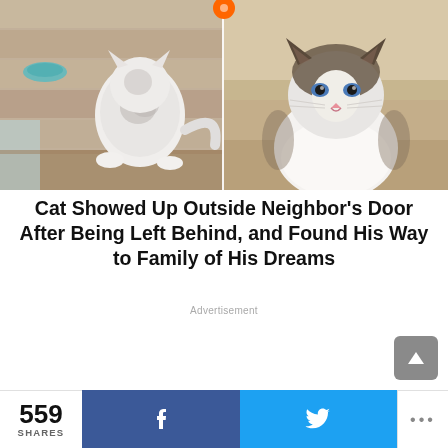[Figure (photo): Two photos side by side: left shows a small fluffy white and gray cat (kitten) from above on a wooden deck near a food bowl; right shows an adult ragdoll cat with brown and white coloring sitting and looking at camera.]
Cat Showed Up Outside Neighbor's Door After Being Left Behind, and Found His Way to Family of His Dreams
Advertisement
559 SHARES  [Facebook share]  [Twitter share]  [More]